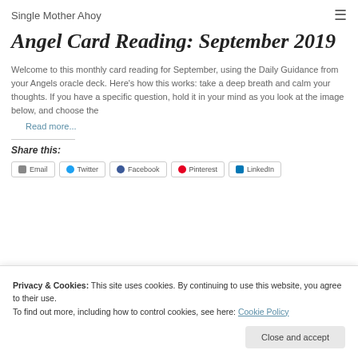Single Mother Ahoy
Angel Card Reading: September 2019
Welcome to this monthly card reading for September, using the Daily Guidance from your Angels oracle deck. Here's how this works: take a deep breath and calm your thoughts. If you have a specific question, hold it in your mind as you look at the image below, and choose the
Read more...
Share this:
Privacy & Cookies: This site uses cookies. By continuing to use this website, you agree to their use.
To find out more, including how to control cookies, see here: Cookie Policy
Close and accept